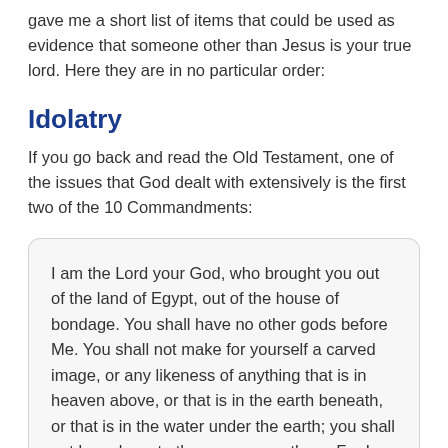gave me a short list of items that could be used as evidence that someone other than Jesus is your true lord. Here they are in no particular order:
Idolatry
If you go back and read the Old Testament, one of the issues that God dealt with extensively is the first two of the 10 Commandments:
I am the Lord your God, who brought you out of the land of Egypt, out of the house of bondage. You shall have no other gods before Me. You shall not make for yourself a carved image, or any likeness of anything that is in heaven above, or that is in the earth beneath, or that is in the water under the earth; you shall not bow down to them nor serve them. For I, the Lord your